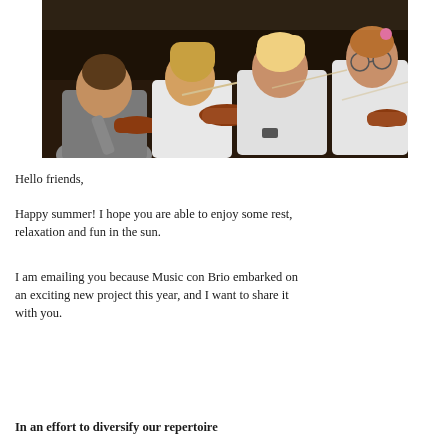[Figure (photo): Young students playing violins in an orchestra setting, wearing white t-shirts, viewed from behind and side angles]
Hello friends,
Happy summer! I hope you are able to enjoy some rest, relaxation and fun in the sun.
I am emailing you because Music con Brio embarked on an exciting new project this year, and I want to share it with you.
In an effort to diversify our repertoire